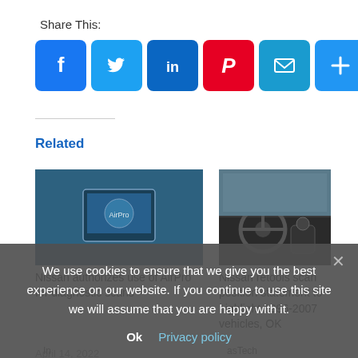Share This:
[Figure (infographic): Row of social media share icon buttons: Facebook (blue), Twitter (light blue), LinkedIn (dark blue), Pinterest (red), Email (teal/blue), Plus/More (blue)]
Related
[Figure (photo): Photo of AirPro diagnostic tablet device on a blue car exterior]
Nissan authorizes use of AirPro for diagnostic scans
April 14, 2022
In
[Figure (photo): Photo of Nissan car interior showing steering wheel and dashboard]
Nissan retools scan position statement to highlight 1996-2007 vehicles, OK
asTech
"Annoc..."
We use cookies to ensure that we give you the best experience on our website. If you continue to use this site we will assume that you are happy with it.
Ok   Privacy policy